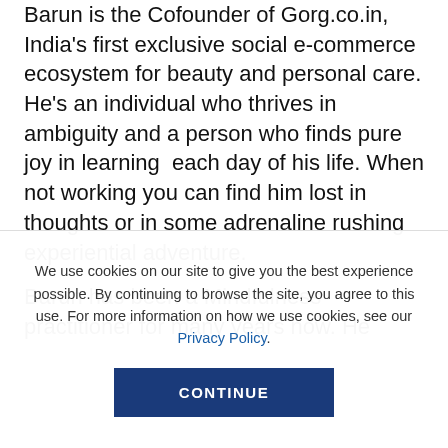Barun is the Cofounder of Gorg.co.in, India's first exclusive social e-commerce ecosystem for beauty and personal care. He's an individual who thrives in ambiguity and a person who finds pure joy in learning each day of his life. When not working you can find him lost in thoughts or in some adrenaline rushing experiential adventure.
Barun has been a Mindfulness practitioner for many years now. He
We use cookies on our site to give you the best experience possible. By continuing to browse the site, you agree to this use. For more information on how we use cookies, see our Privacy Policy.
CONTINUE